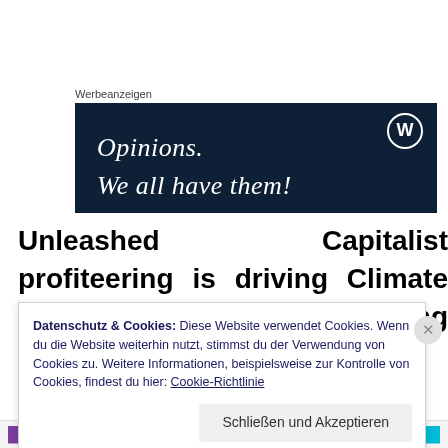Werbeanzeigen
[Figure (screenshot): WordPress advertisement banner with dark navy background showing WordPress logo (W in circle) and text 'Opinions. We all have them!']
Unleashed Capitalist profiteering is driving Climate Change and endangering millions if not billions of
Datenschutz & Cookies: Diese Website verwendet Cookies. Wenn du die Website weiterhin nutzt, stimmst du der Verwendung von Cookies zu. Weitere Informationen, beispielsweise zur Kontrolle von Cookies, findest du hier: Cookie-Richtlinie
Schließen und Akzeptieren